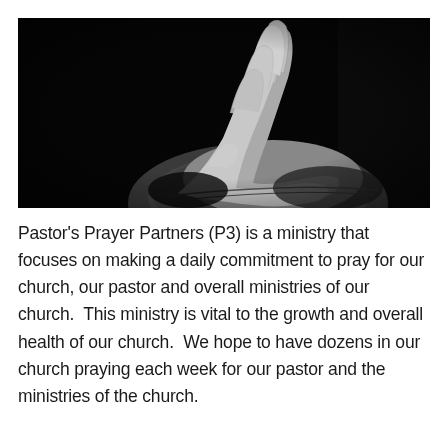[Figure (photo): Black and white photograph of two hands clasped together in prayer against a dark background, showing the wrists and fingers interlocked upward.]
Pastor's Prayer Partners (P3) is a ministry that focuses on making a daily commitment to pray for our church, our pastor and overall ministries of our church.  This ministry is vital to the growth and overall health of our church.  We hope to have dozens in our church praying each week for our pastor and the ministries of the church.